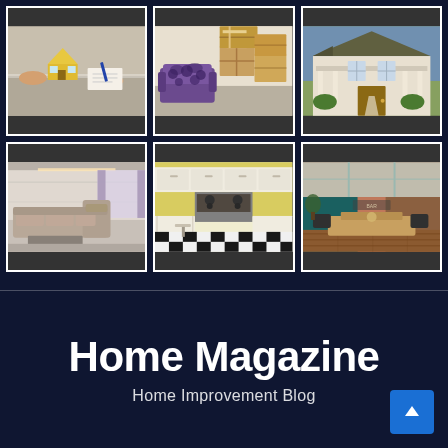[Figure (photo): Six home-related photos in a 3x2 grid on a dark navy background: top row shows hands with house model/real estate signing, moving boxes with patterned chair, Victorian house exterior; bottom row shows modern living room with sectional sofa, kitchen with black-and-white checkered floor, dining room with wood accents]
Home Magazine
Home Improvement Blog